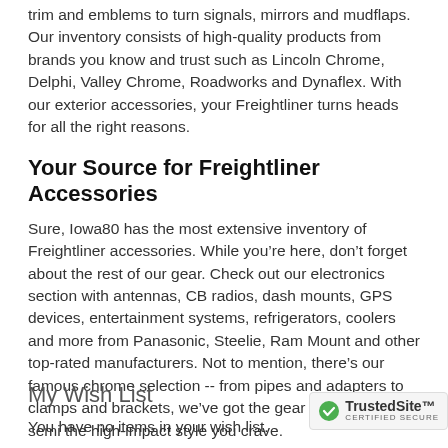trim and emblems to turn signals, mirrors and mudflaps. Our inventory consists of high-quality products from brands you know and trust such as Lincoln Chrome, Delphi, Valley Chrome, Roadworks and Dynaflex. With our exterior accessories, your Freightliner turns heads for all the right reasons.
Your Source for Freightliner Accessories
Sure, Iowa80 has the most extensive inventory of Freightliner accessories. While you’re here, don’t forget about the rest of our gear. Check out our electronics section with antennas, CB radios, dash mounts, GPS devices, entertainment systems, refrigerators, coolers and more from Panasonic, Steelie, Ram Mount and other top-rated manufacturers. Not to mention, there’s our famous chrome selection -- from pipes and adapters to clamps and brackets, we’ve got the gear to give your semi the high-impact style you crave.
My Wish List
You have no items in your wish list.
[Figure (logo): TrustedSite Certified Secure badge with green checkmark]